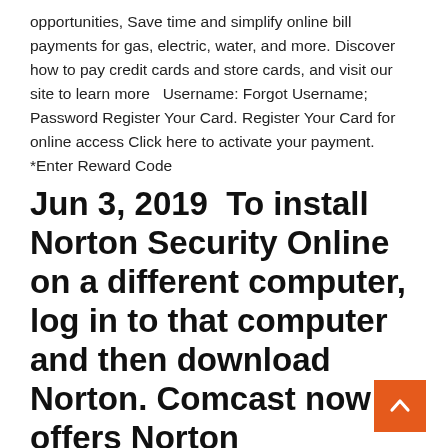opportunities,  Save time and simplify online bill payments for gas, electric, water, and more. Discover how to pay credit cards and store cards, and visit our site to learn more   Username: Forgot Username; Password Register Your Card. Register Your Card for online access Click here to activate your payment. *Enter Reward Code
Jun 3, 2019  To install Norton Security Online on a different computer, log in to that computer and then download Norton. Comcast now offers Norton